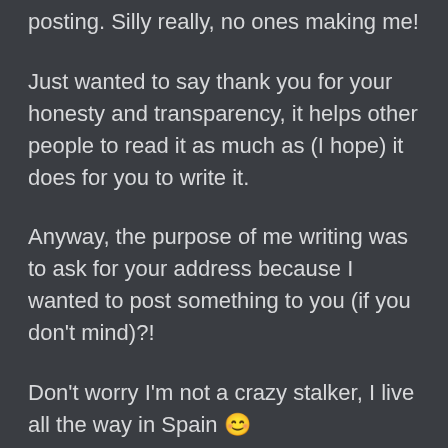posting. Silly really, no ones making me!
Just wanted to say thank you for your honesty and transparency, it helps other people to read it as much as (I hope) it does for you to write it.
Anyway, the purpose of me writing was to ask for your address because I wanted to post something to you (if you don't mind)?!
Don't worry I'm not a crazy stalker, I live all the way in Spain 😊
Wishing you so much luck and strength for the upcoming exploratory GA, and